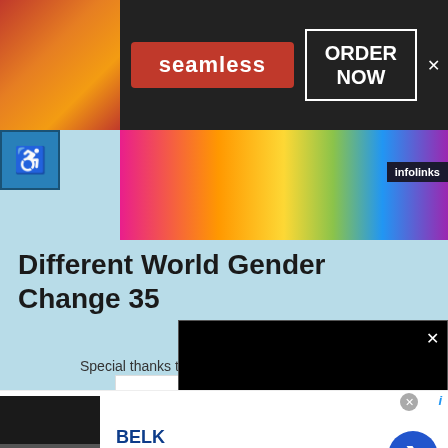[Figure (screenshot): Seamless food delivery banner ad with pizza image on left, red seamless pill button in center, ORDER NOW box on right, dark background]
[Figure (screenshot): Colorful gradient banner ad with infolinks badge, person in pink top visible]
Different World Gender Change 35
[Figure (screenshot): Blue accessibility badge icon]
Special thanks to every Pat
[Figure (screenshot): Wayfair advertisement logo in white box]
[Figure (screenshot): Black video player with loading spinner and X close button]
[Figure (screenshot): Infolinks badge at bottom]
[Figure (screenshot): BELK advertisement with denim tagline, Denim all day, www.belk.com, blue arrow button, women clothing images]